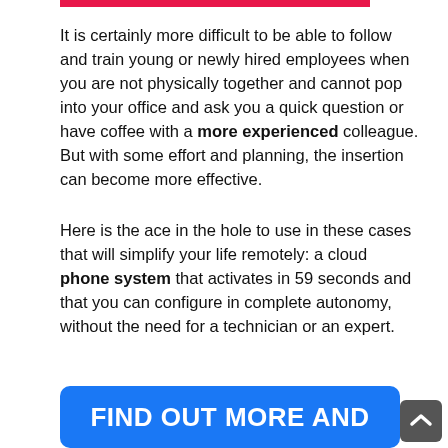It is certainly more difficult to be able to follow and train young or newly hired employees when you are not physically together and cannot pop into your office and ask you a quick question or have coffee with a more experienced colleague. But with some effort and planning, the insertion can become more effective.
Here is the ace in the hole to use in these cases that will simplify your life remotely: a cloud phone system that activates in 59 seconds and that you can configure in complete autonomy, without the need for a technician or an expert.
FIND OUT MORE AND